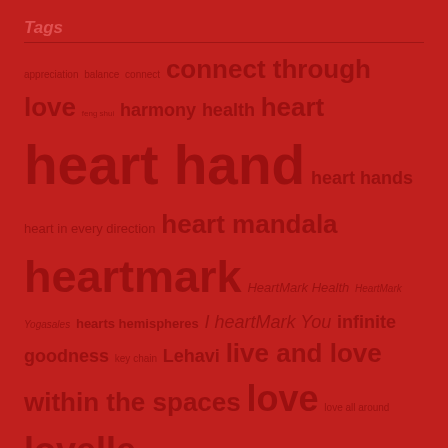Tags
appreciation balance connect connect through love feng shui harmony health heart heart hand heart hands heart in every direction heart mandala heartmark HeartMark Health HeartMark Yogasales hearts hemispheres I heartMark You infinite goodness key chain Lehavi live and love within the spaces love love all around lovelle Lovelle's Garden mandala math meditate nutrition patterns peace Planet Heart power of infinite goodness power symbol protein respect Sponap Sponaps Tali Tali Lehavi Taylor Swift The Power is Inside You trademark yoga
Recent Posts
Avocado-Purple Yam-Apricot-Dill Salad!
Fitness for Fun studio? Anywhere?